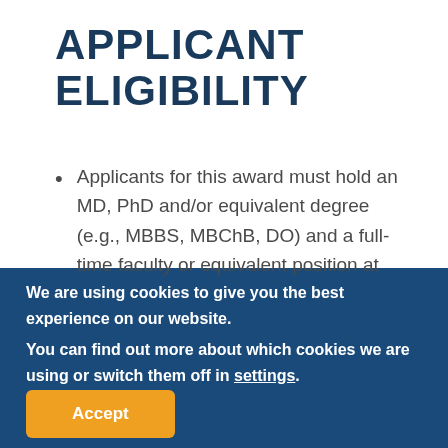APPLICANT ELIGIBILITY
Applicants for this award must hold an MD, PhD and/or equivalent degree (e.g., MBBS, MBChB, DO) and a full-time faculty or equivalent position at
We are using cookies to give you the best experience on our website.
You can find out more about which cookies we are using or switch them off in settings.
Accept